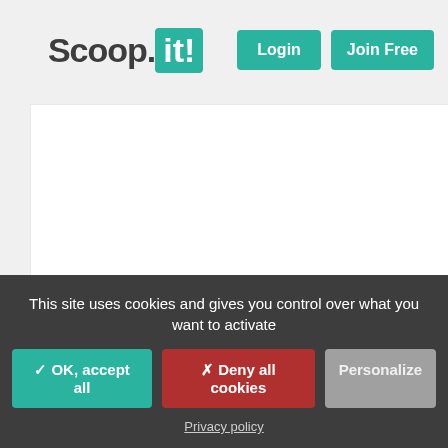Scoop.it! | Login | Join Free
[Figure (screenshot): White content card area (partially visible, cropped)]
email
mor
Scooped by Robin Good
This site uses cookies and gives you control over what you want to activate
✓ OK, accept all
✗ Deny all cookies
Personalize
Privacy policy